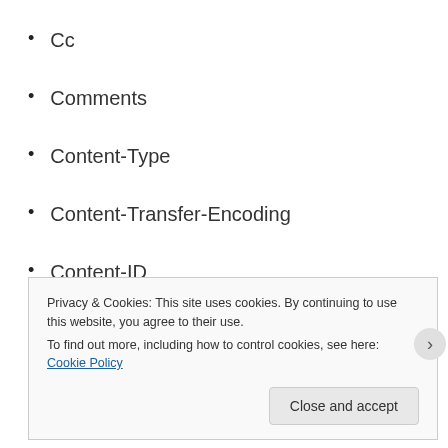Cc
Comments
Content-Type
Content-Transfer-Encoding
Content-ID
Content-Description
Privacy & Cookies: This site uses cookies. By continuing to use this website, you agree to their use.
To find out more, including how to control cookies, see here: Cookie Policy